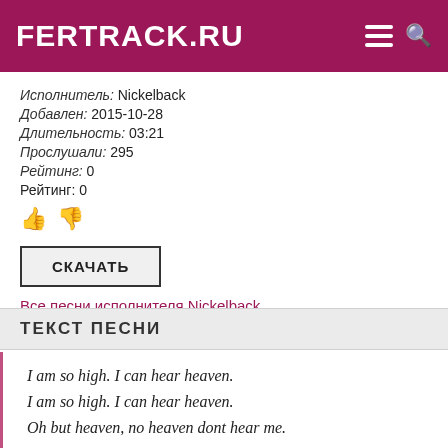FERTRACK.RU
Исполнитель: Nickelback
Добавлен: 2015-10-28
Длительность: 03:21
Прослушали: 295
Рейтинг: 0
Рейтинг: 0
СКАЧАТЬ
Все песни исполнителя Nickelback
ТЕКСТ ПЕСНИ
I am so high. I can hear heaven.
I am so high. I can hear heaven.
Oh but heaven, no heaven dont hear me.

And they say that a hero can save us.